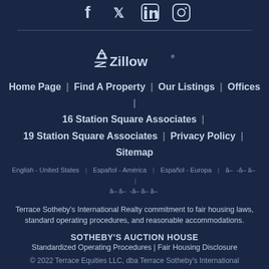[Figure (logo): Social media icons: Facebook, Twitter, LinkedIn, Instagram]
[Figure (logo): Zillow logo with house/arrow icon]
Home Page | Find A Property | Our Listings | Offices | 16 Station Square Associates | 19 Station Square Associates | Privacy Policy | Sitemap
English - United States | Español - América | Español - Europa | 한국어-한국 | 中文-台灣
Terrace Sotheby's International Realty commitment to fair housing laws, standard operating procedures, and reasonable accommodations.
SOTHEBY'S AUCTION HOUSE
Standardized Operating Procedures | Fair Housing Disclosure
© 2022 Terrace Equities LLC, dba Terrace Sotheby's International